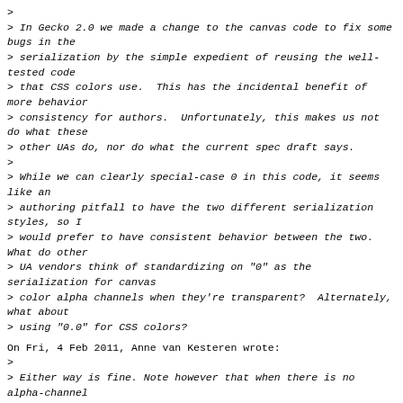> 
> In Gecko 2.0 we made a change to the canvas code to fix some bugs in the
> serialization by the simple expedient of reusing the well-tested code
> that CSS colors use.  This has the incidental benefit of more behavior
> consistency for authors.  Unfortunately, this makes us not do what these
> other UAs do, nor do what the current spec draft says.
>
> While we can clearly special-case 0 in this code, it seems like an
> authoring pitfall to have the two different serialization styles, so I
> would prefer to have consistent behavior between the two.  What do other
> UA vendors think of standardizing on "0" as the serialization for canvas
> color alpha channels when they're transparent?  Alternately, what about
> using "0.0" for CSS colors?
On Fri, 4 Feb 2011, Anne van Kesteren wrote:
>
> Either way is fine. Note however that when there is no alpha-channel
> involved the differences are much greater between CSS and <canvas>. At